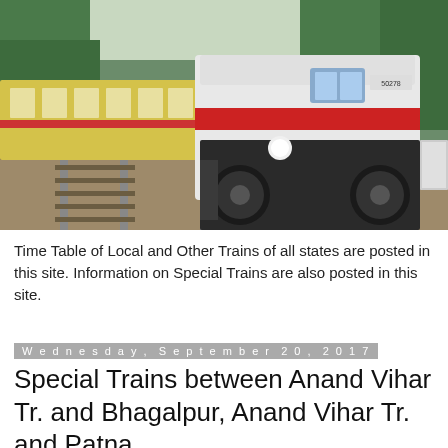[Figure (photo): A white and yellow Indian Railways locomotive with red stripe, viewed from front-right angle on railway tracks surrounded by trees and gravel.]
Time Table of Local and Other Trains of all states are posted in this site. Information on Special Trains are also posted in this site.
Wednesday, September 20, 2017
Special Trains between Anand Vihar Tr. and Bhagalpur, Anand Vihar Tr. and Patna